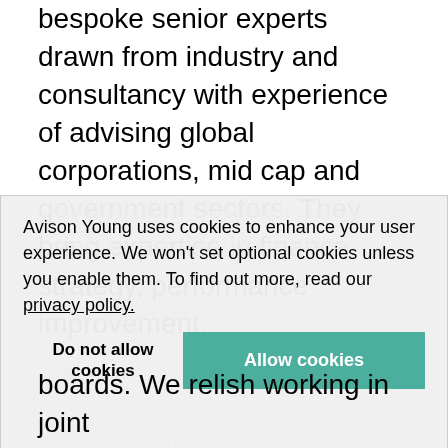bespoke senior experts drawn from industry and consultancy with experience of advising global corporations, mid cap and government sectors. They bring expertise in finance, strategy, performance improvement, programme management and people and change, as well as real estate.
Avison Young uses cookies to enhance your user experience. We won't set optional cookies unless you enable them. To find out more, read our privacy policy.
It feels different to work with us. We listen hard. We deliver flexibly at pace, adapting to your organisation. We are famous for our decision-support and making you look good in front of senior boards. We relish working in joint